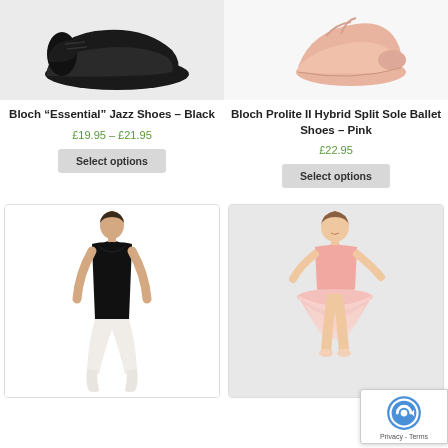[Figure (photo): Black jazz shoe product photo on light grey background]
Bloch “Essential” Jazz Shoes – Black
£19.95 – £21.95
Select options
[Figure (photo): Pink ballet split-sole shoe product photo on light background]
Bloch Prolite II Hybrid Split Sole Ballet Shoes – Pink
£22.95
Select options
[Figure (photo): Black camisole leotard on a female model, white leggings, white background]
[Figure (photo): Young girl in pink tutu ballet dress, light grey background]